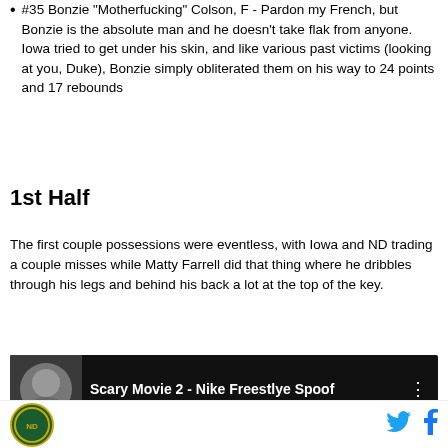#35 Bonzie "Motherfucking" Colson, F - Pardon my French, but Bonzie is the absolute man and he doesn't take flak from anyone. Iowa tried to get under his skin, and like various past victims (looking at you, Duke), Bonzie simply obliterated them on his way to 24 points and 17 rebounds
1st Half
The first couple possessions were eventless, with Iowa and ND trading a couple misses while Matty Farrell did that thing where he dribbles through his legs and behind his back a lot at the top of the key.
[Figure (screenshot): Video thumbnail for 'Scary Movie 2 - Nike Freestlye Spoof' with dark background, person thumbnail on left, title text in white, and three-dot menu icon on right]
Logo icon on left, Twitter and Facebook social icons on right